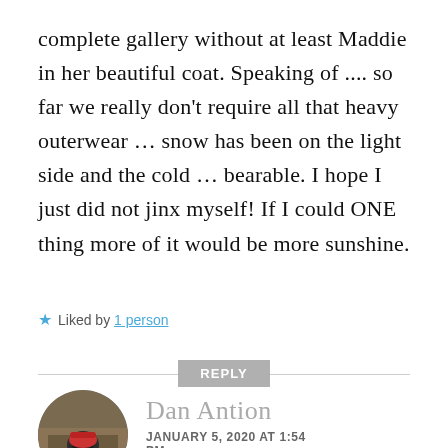complete gallery without at least Maddie in her beautiful coat. Speaking of .... so far we really don't require all that heavy outerwear ... snow has been on the light side and the cold ... bearable. I hope I just did not jinx myself! If I could ONE thing more of it would be more sunshine.
★ Liked by 1 person
REPLY
[Figure (photo): Circular avatar photo of Dan Antion, a person sitting on what appears to be a wooden surface outdoors, wearing a red cap and dark clothing]
Dan Antion
JANUARY 5, 2020 AT 1:54 PM